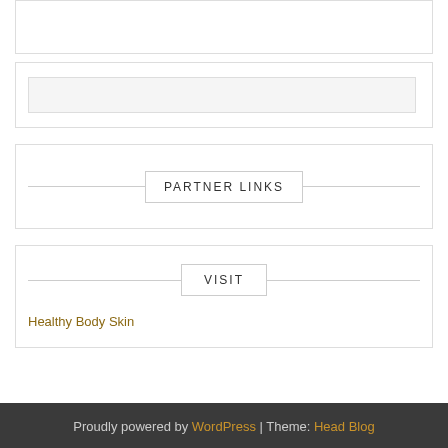[Figure (other): Partial top widget box, content cropped]
[Figure (other): Search input box widget area with light gray input field]
PARTNER LINKS
VISIT
Healthy Body Skin
Proudly powered by WordPress | Theme: Head Blog